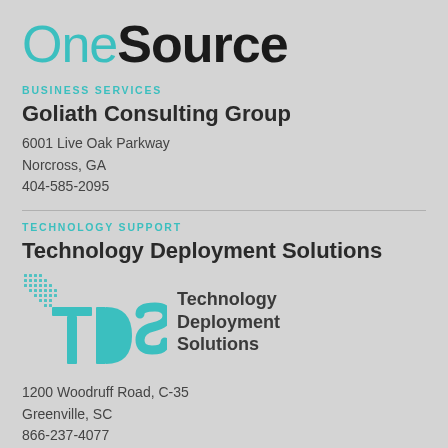[Figure (logo): OneSource logo with 'One' in teal and 'Source' in black bold text]
BUSINESS SERVICES
Goliath Consulting Group
6001 Live Oak Parkway
Norcross, GA
404-585-2095
TECHNOLOGY SUPPORT
Technology Deployment Solutions
[Figure (logo): TDS (Technology Deployment Solutions) logo with teal dots pattern and teal TDS letters with dark text beside it]
1200 Woodruff Road, C-35
Greenville, SC
866-237-4077